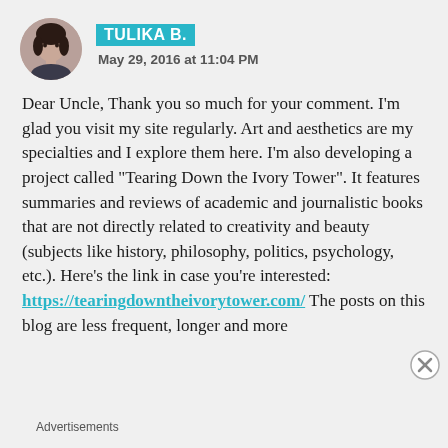[Figure (photo): Circular avatar photo of Tulika B., a young woman with dark hair]
TULIKA B.
May 29, 2016 at 11:04 PM
Dear Uncle, Thank you so much for your comment. I’m glad you visit my site regularly. Art and aesthetics are my specialties and I explore them here. I’m also developing a project called “Tearing Down the Ivory Tower”. It features summaries and reviews of academic and journalistic books that are not directly related to creativity and beauty (subjects like history, philosophy, politics, psychology, etc.). Here’s the link in case you’re interested: https://tearingdowntheivory​tower.com/ The posts on this blog are less frequent, longer and more
Advertisements